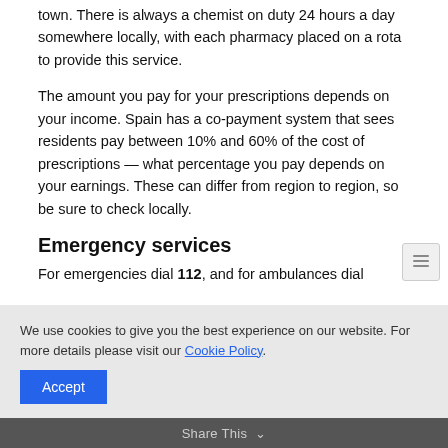town. There is always a chemist on duty 24 hours a day somewhere locally, with each pharmacy placed on a rota to provide this service.
The amount you pay for your prescriptions depends on your income. Spain has a co-payment system that sees residents pay between 10% and 60% of the cost of prescriptions — what percentage you pay depends on your earnings. These can differ from region to region, so be sure to check locally.
Emergency services
For emergencies dial 112, and for ambulances dial
We use cookies to give you the best experience on our website. For more details please visit our Cookie Policy.
Share This